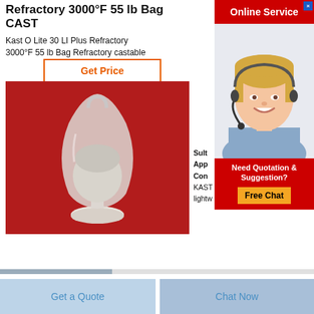Refractory 3000°F 55 lb Bag CAST
Kast O Lite 30 LI Plus Refractory
3000°F 55 lb Bag Refractory castable
Get Price
[Figure (photo): Product photo of a glass vessel containing white powdered refractory material on a red background]
Sult
App
Con
KAST
lightw
[Figure (infographic): Online Service ad with agent photo and Free Chat button]
Get a Quote
Chat Now